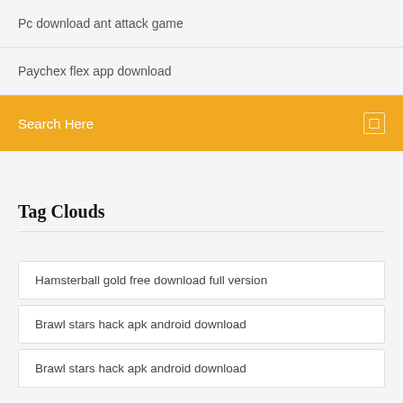Pc download ant attack game
Paychex flex app download
Search Here
Tag Clouds
Hamsterball gold free download full version
Brawl stars hack apk android download
Brawl stars hack apk android download